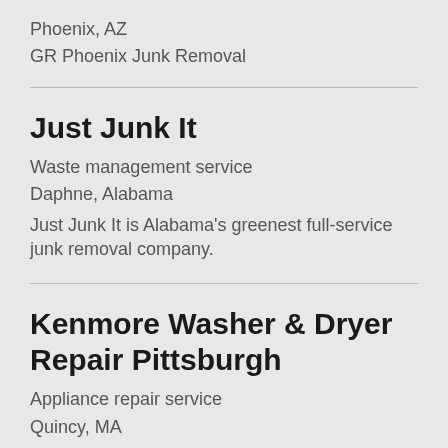Phoenix, AZ
GR Phoenix Junk Removal
Just Junk It
Waste management service
Daphne, Alabama
Just Junk It is Alabama's greenest full-service junk removal company.
Kenmore Washer & Dryer Repair Pittsburgh
Appliance repair service
Quincy, MA
We are the best repair service around!